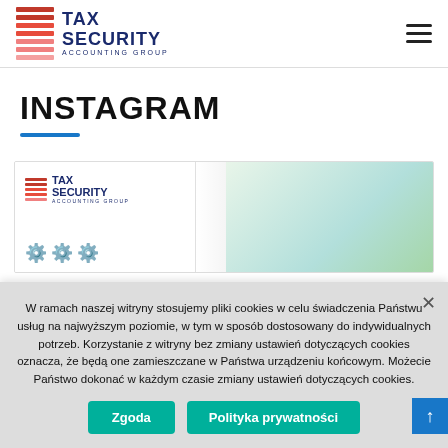[Figure (logo): Tax Security Accounting Group logo with red horizontal stripes and dark blue text]
INSTAGRAM
[Figure (screenshot): Instagram post preview showing Tax Security Accounting Group logo on left panel and green background on right]
W ramach naszej witryny stosujemy pliki cookies w celu świadczenia Państwu usług na najwyższym poziomie, w tym w sposób dostosowany do indywidualnych potrzeb. Korzystanie z witryny bez zmiany ustawień dotyczących cookies oznacza, że będą one zamieszczane w Państwa urządzeniu końcowym. Możecie Państwo dokonać w każdym czasie zmiany ustawień dotyczących cookies.
Zgoda
Polityka prywatności